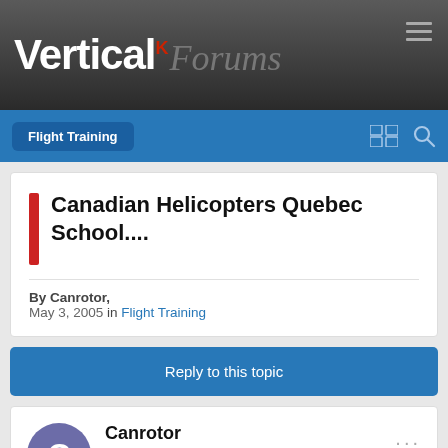[Figure (screenshot): Vertical Forums website header with logo and hamburger menu on dark gradient background]
Flight Training
Canadian Helicopters Quebec School....
By Canrotor, May 3, 2005 in Flight Training
Reply to this topic
Canrotor
Posted May 3, 2005
Hello All,